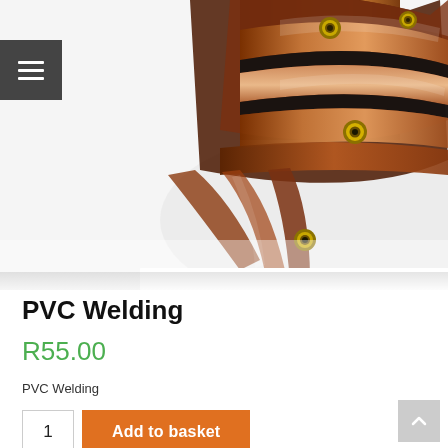[Figure (photo): Close-up photo of rolled copper/brown PVC welding curtain strips with brass eyelets, on a white background]
PVC Welding
R55.00
PVC Welding
1
Add to basket